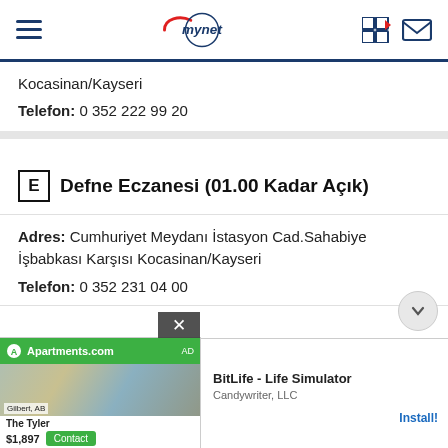mynet
Kocasinan/Kayseri
Telefon: 0 352 222 99 20
E Defne Eczanesi (01.00 Kadar Açık)
Adres: Cumhuriyet Meydanı İstasyon Cad.Sahabiye İşbabkası Karşısı Kocasinan/Kayseri
Telefon: 0 352 231 04 00
24 Saat Açık)
[Figure (screenshot): Advertisement overlay from Apartments.com showing apartment photo, The Tyler listing at $1,897 with Contact button]
[Figure (screenshot): Advertisement for BitLife - Life Simulator by Candywriter, LLC with Install!! link]